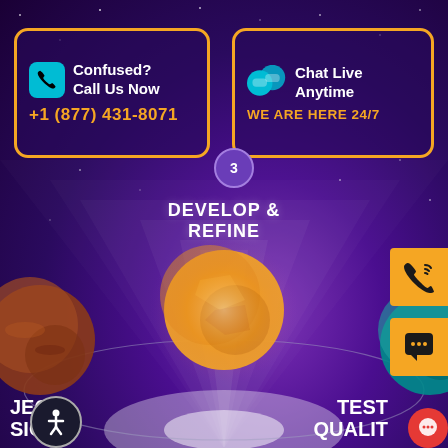[Figure (infographic): Space-themed website popup with contact options overlaid on a purple galaxy background with planets and orbit arcs. Shows two orange-bordered contact boxes (call and chat), a step 3 badge, DEVELOP & REFINE label, planets, and bottom navigation elements.]
Confused? Call Us Now
+1 (877) 431-8071
Chat Live Anytime
WE ARE HERE 24/7
3
DEVELOP & REFINE
JECT
SIG
TEST
QUALIT